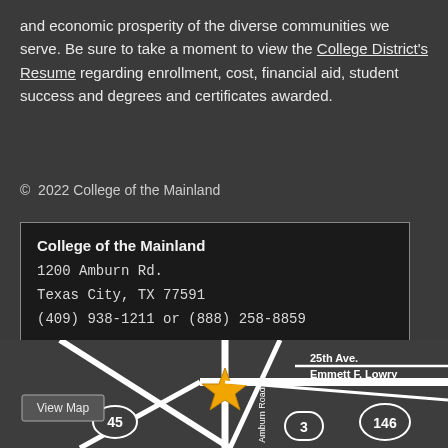and economic prosperity of the diverse communities we serve. Be sure to take a moment to view the College District's Resume regarding enrollment, cost, financial aid, student success and degrees and certificates awarded.
© 2022 College of the Mainland
College of the Mainland
1200 Amburn Rd.
Texas City, TX 77591
(409) 938-1211 or (888) 258-8859
[Figure (map): Street map showing College of the Mainland location at intersection of Amburn Road and Emmett F. Lowry Expressway, with highways 45, 146, and 3 visible. A gold star marks the college location. A 'View Map' button is shown in the lower left area of the map.]